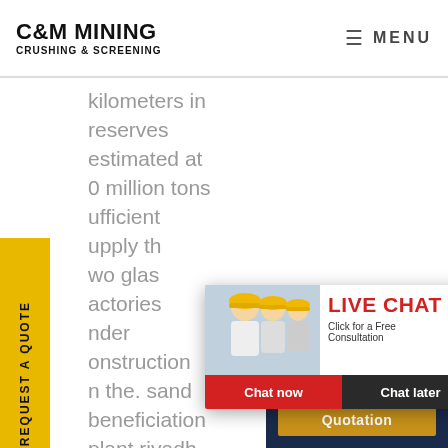C&M MINING CRUSHING & SCREENING | MENU
kilometers in reserves estimated at 0 million tons ufficient upply th wo glas actories nder onstruction n the. sand beneficiation plant riyadh at
[Figure (screenshot): Yellow sidebar tab reading REQUEST A QUOTE vertically]
[Figure (screenshot): Live chat popup with workers in hard hats, LIVE CHAT heading in red, Click for a Free Consultation, Chat now and Chat later buttons]
[Figure (photo): Customer service representative with headset on right side]
[Figure (screenshot): Dark blue panel bottom right: Have any requests, click here. with Quotation button]